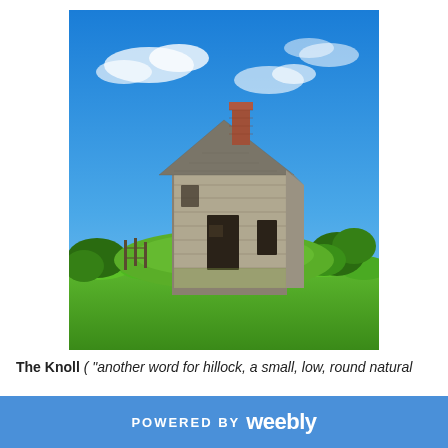[Figure (photo): A ruined stone cottage building with a brick chimney, sitting atop a grassy knoll/hillock. The building has no windows or doors remaining, with open rectangular gaps. Bright blue sky with light clouds in the background, and lush green vegetation/shrubs surrounding the base of the structure.]
The Knoll ("another word for hillock, a small, low, round natural
POWERED BY weebly